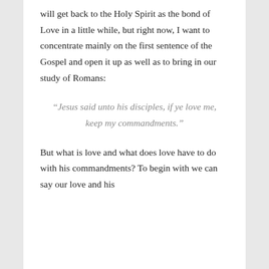will get back to the Holy Spirit as the bond of Love in a little while, but right now, I want to concentrate mainly on the first sentence of the Gospel and open it up as well as to bring in our study of Romans:
“Jesus said unto his disciples, if ye love me, keep my commandments.”
But what is love and what does love have to do with his commandments? To begin with we can say our love and his